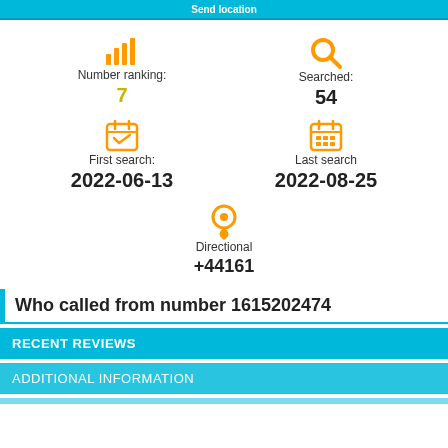Send location
Number ranking: 7
Searched: 54
First search: 2022-06-13
Last search 2022-08-25
Directional +44161
Who called from number 1615202474
RECENT REVIEWS
ADDITIONAL INFORMATION